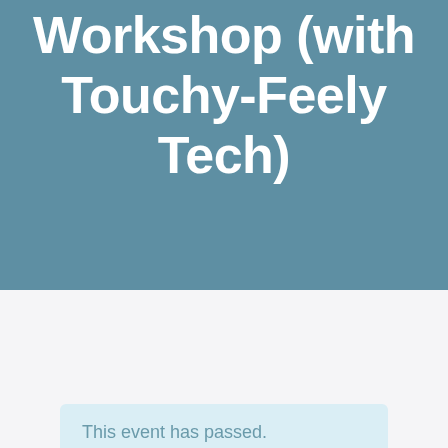Workshop (with Touchy-Feely Tech)
[Figure (other): Teal/turquoise decorative square element]
This event has passed.